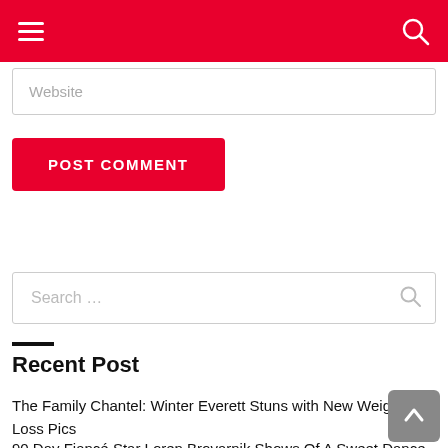Navigation bar with hamburger menu and search icon
Website
POST COMMENT
Search ...
Recent Post
The Family Chantel: Winter Everett Stuns with New Weight Loss Pics
90 Day Fiancé Star Loren Brovarnik Shows Of A Sweet Dance Move
Sister Wives: Christine Brown Shops With Her Daughters